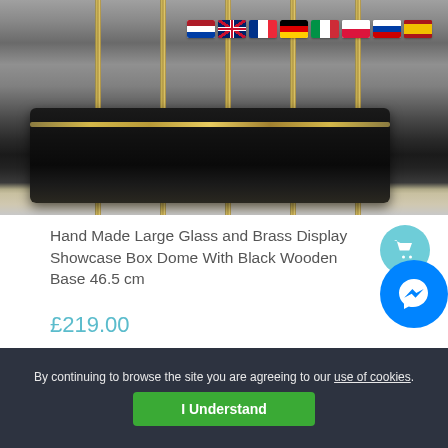[Figure (photo): Photo of a hand-made large glass and brass display showcase box dome with a black wooden base, showing vertical brass rods and a dark rectangular base on a gray background. Country flag icons (Netherlands, UK, France, Germany, Italy, Poland, Russia, Spain) appear in the top-right corner.]
Hand Made Large Glass and Brass Display Showcase Box Dome With Black Wooden Base 46.5 cm
£219.00
By continuing to browse the site you are agreeing to our use of cookies.
I Understand